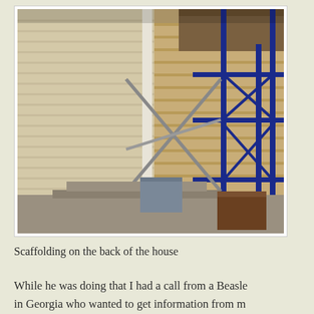[Figure (photo): Photograph of scaffolding on the back of a house. Blue metal scaffolding frames are visible on the right side, with diagonal cross-braces. The left side shows cream/beige vinyl siding on the house. The right portion reveals older wooden siding underneath. Steps and construction materials are visible at the bottom.]
Scaffolding on the back of the house
While he was doing that I had a call from a Beasley in Georgia who wanted to get information from me on the Beasley family tree. Talked my ear off. I do